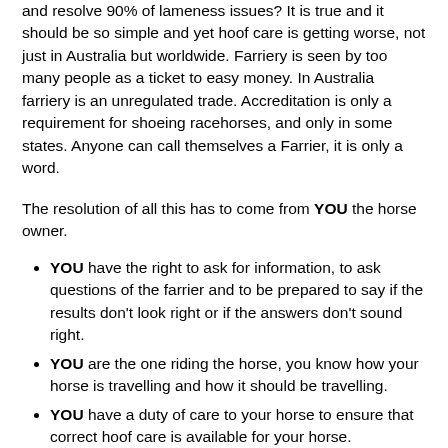and resolve 90% of lameness issues? It is true and it should be so simple and yet hoof care is getting worse, not just in Australia but worldwide. Farriery is seen by too many people as a ticket to easy money. In Australia farriery is an unregulated trade. Accreditation is only a requirement for shoeing racehorses, and only in some states. Anyone can call themselves a Farrier, it is only a word.
The resolution of all this has to come from YOU the horse owner.
YOU have the right to ask for information, to ask questions of the farrier and to be prepared to say if the results don't look right or if the answers don't sound right.
YOU are the one riding the horse, you know how your horse is travelling and how it should be travelling.
YOU have a duty of care to your horse to ensure that correct hoof care is available for your horse.
It is up to YOU to fulfil that duty of care by understanding what